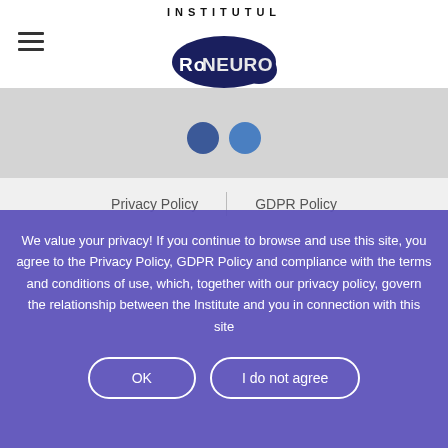INSTITUTUL RoNEURO
[Figure (logo): RoNEURO Institute logo with brain graphic and text INSTITUTUL above RoNEURO]
[Figure (photo): Grey banner with partially visible social media icons (Facebook and another blue circle)]
Privacy Policy | GDPR Policy
We value your privacy! If you continue to browse and use this site, you agree to the Privacy Policy, GDPR Policy and compliance with the terms and conditions of use, which, together with our privacy policy, govern the relationship between the Institute and you in connection with this site
OK
I do not agree